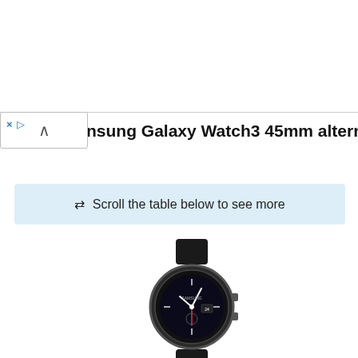[Figure (screenshot): Ad banner overlay at top of page]
× ▷
nsung Galaxy Watch3 45mm alternatives
⇄ Scroll the table below to see more
[Figure (photo): Samsung Galaxy Watch3 45mm smartwatch with black leather strap, circular dark face]
Samsung Galaxy Watch3 45mmSamsung Galaxy
Plan: £
Free:
Current product
|  | Samsung Galaxy Watch3 45mm |  |
| --- | --- | --- |
| Colour display | 1.4 inch, Circular Super | 1.4 inch, Circul |
| Processor | 1.15 GHz, Samsung Exynos | 1.15 GHz, Sam |
NewMobile uses cookies.
Hide this message